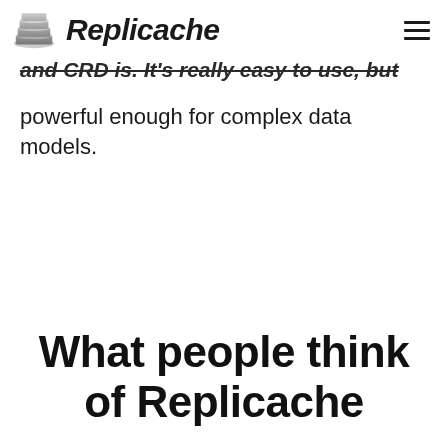Replicache
and CRD is. It's really easy to use, but powerful enough for complex data models.
What people think of Replicache